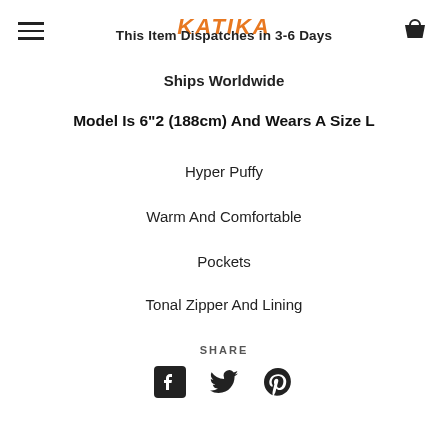This Item Dispatches in 3-6 Days
Ships Worldwide
Model Is 6"2 (188cm) And Wears A Size L
Hyper Puffy
Warm And Comfortable
Pockets
Tonal Zipper And Lining
SHARE